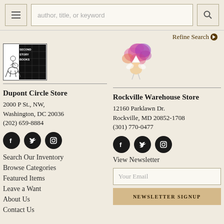author, title, or keyword [search bar] | Refine Search
[Figure (logo): Second Story Books logo — monochrome illustration of person with horse, grid background, text 'SECOND STORY BOOKS']
[Figure (illustration): Colorful watercolor illustration of a fairy/sprite figure with pink and purple smoke/balloons]
Dupont Circle Store
2000 P St., NW,
Washington, DC 20036
(202) 659-8884
[Figure (infographic): Three social media icons: Facebook, Twitter, Instagram — black circles]
Search Our Inventory
Browse Categories
Featured Items
Leave a Want
About Us
Contact Us
Rockville Warehouse Store
12160 Parklawn Dr.
Rockville, MD 20852-1708
(301) 770-0477
[Figure (infographic): Three social media icons: Facebook, Twitter, Instagram — black circles]
View Newsletter
Your Email
NEWSLETTER SIGNUP